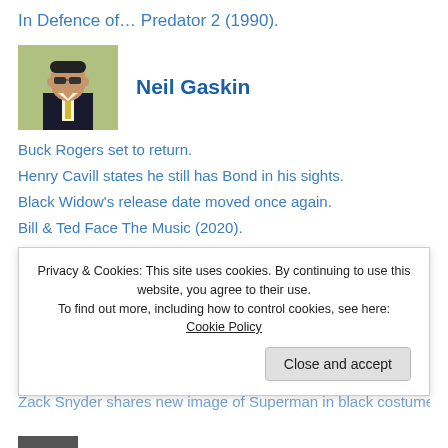In Defence of… Predator 2 (1990).
[Figure (photo): Profile photo of Neil Gaskin, a man in a suit.]
Neil Gaskin
Buck Rogers set to return.
Henry Cavill states he still has Bond in his sights.
Black Widow's release date moved once again.
Bill & Ted Face The Music (2020).
AMC announcement confirms that they will no longer show Universal Pictures films.
[Figure (photo): Profile avatar of Richard Roberts, pixel art style icon in brown and blue.]
Richard Roberts
Zack Snyder shares new image of Superman in black costume
Privacy & Cookies: This site uses cookies. By continuing to use this website, you agree to their use. To find out more, including how to control cookies, see here: Cookie Policy
Close and accept